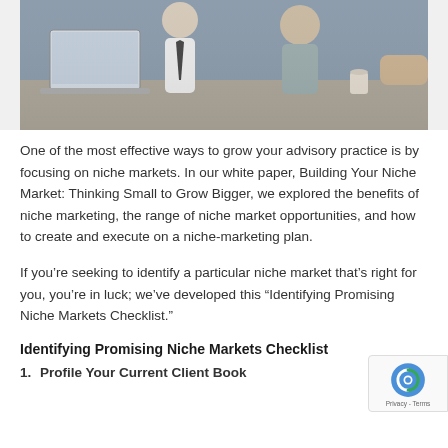[Figure (photo): Photo of business meeting scene with people around a table with a laptop, taken from above/side angle in an office setting.]
One of the most effective ways to grow your advisory practice is by focusing on niche markets. In our white paper, Building Your Niche Market: Thinking Small to Grow Bigger, we explored the benefits of niche marketing, the range of niche market opportunities, and how to create and execute on a niche-marketing plan.
If you’re seeking to identify a particular niche market that’s right for you, you’re in luck; we’ve developed this “Identifying Promising Niche Markets Checklist.”
Identifying Promising Niche Markets Checklist
1. Profile Your Current Client Book